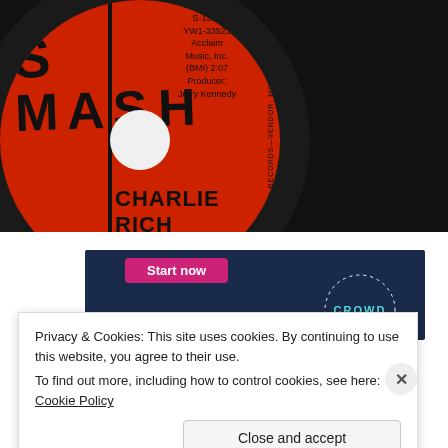[Figure (photo): Close-up photo of a red Smash Records vinyl 45 RPM record label showing 'CHARLIE RICH', catalog number S-1993, YW1-33523, Acclaim Music Inc. (BMI) 2:07, Producer: Jerry Kennedy]
[Figure (screenshot): Advertisement banner with dark blue background showing 'Start now' button in pink and a 'CROWD' logo on the right]
Privacy & Cookies: This site uses cookies. By continuing to use this website, you agree to their use.
To find out more, including how to control cookies, see here: Cookie Policy
Close and accept